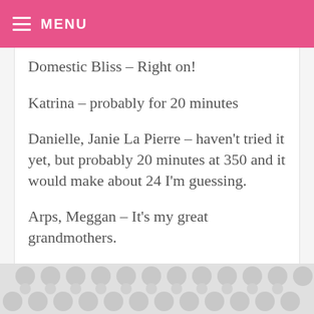MENU
Domestic Bliss – Right on!
Katrina – probably for 20 minutes
Danielle, Janie La Pierre – haven't tried it yet, but probably 20 minutes at 350 and it would make about 24 I'm guessing.
Arps, Meggan – It's my great grandmothers.
Brittany – that's a good one!
Amanda, Monica – You should have